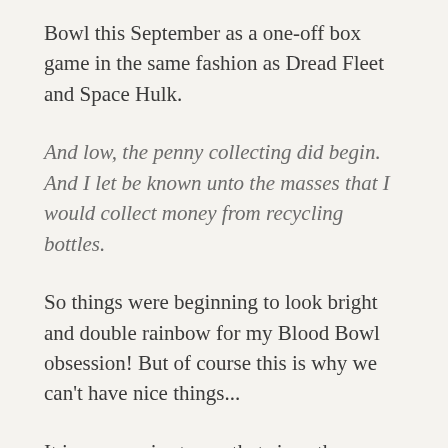Bowl this September as a one-off box game in the same fashion as Dread Fleet and Space Hulk.
And low, the penny collecting did begin. And I let be known unto the masses that I would collect money from recycling bottles.
So things were beginning to look bright and double rainbow for my Blood Bowl obsession! But of course this is why we can't have nice things...
It is no surprise to me that since the very beginning of my hobby career that the Specialist Games were beginning their slow decline into obscurity. It is only now, at the